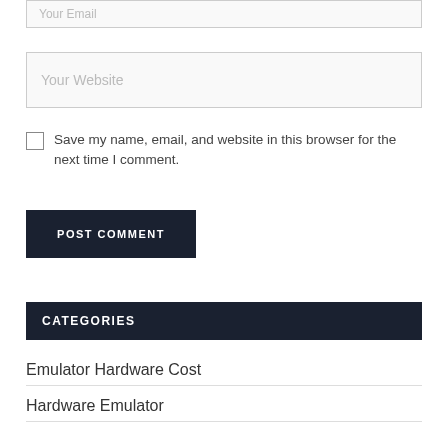Your Email
Your Website
Save my name, email, and website in this browser for the next time I comment.
POST COMMENT
CATEGORIES
Emulator Hardware Cost
Hardware Emulator